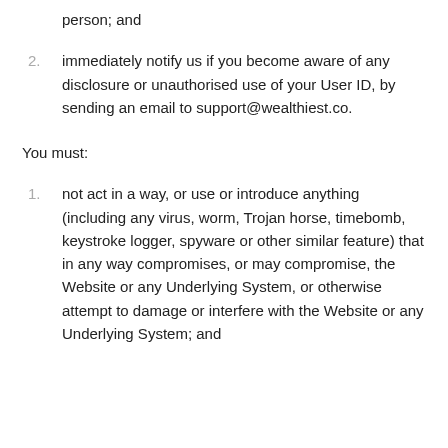person; and
immediately notify us if you become aware of any disclosure or unauthorised use of your User ID, by sending an email to support@wealthiest.co.
You must:
not act in a way, or use or introduce anything (including any virus, worm, Trojan horse, timebomb, keystroke logger, spyware or other similar feature) that in any way compromises, or may compromise, the Website or any Underlying System, or otherwise attempt to damage or interfere with the Website or any Underlying System; and